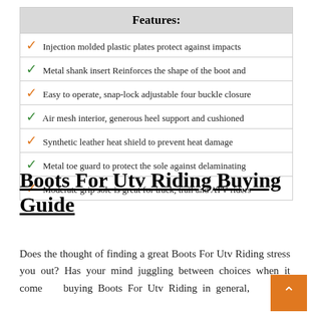| Features: |
| --- |
| ✓ Injection molded plastic plates protect against impacts |
| ✓ Metal shank insert Reinforces the shape of the boot and |
| ✓ Easy to operate, snap-lock adjustable four buckle closure |
| ✓ Air mesh interior, generous heel support and cushioned |
| ✓ Synthetic leather heat shield to prevent heat damage |
| ✓ Metal toe guard to protect the sole against delaminating |
| ✓ Moderate grip sole is great for track, trail and ATV riders |
Boots For Utv Riding Buying Guide
Does the thought of finding a great Boots For Utv Riding stress you out? Has your mind juggling between choices when it comes to buying Boots For Utv Riding in general,